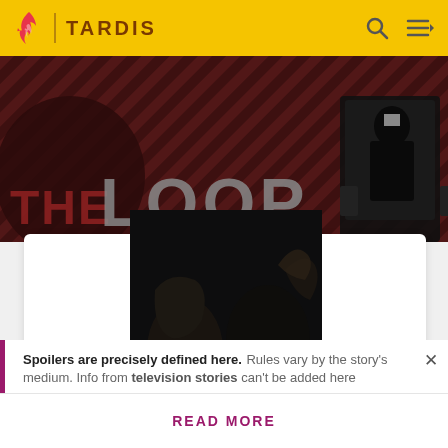TARDIS
[Figure (screenshot): Hero banner showing 'THE LOOP' text overlay on dark background with diagonal stripe pattern and a figure seated in a chair]
[Figure (photo): Dark dramatic image showing creature-like skeletal or monstrous figures in shadow]
Spoilers are precisely defined here. Rules vary by the story's medium. Info from television stories can't be added here
READ MORE